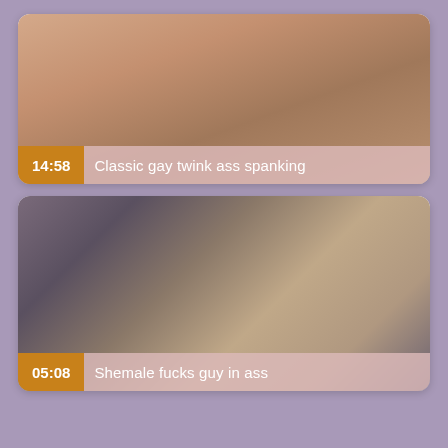[Figure (photo): Video thumbnail card showing a close-up blurry photo with duration badge '14:58' and title 'Classic gay twink ass spanking']
[Figure (photo): Video thumbnail card showing a scene with two people, duration badge '05:08' and title 'Shemale fucks guy in ass']